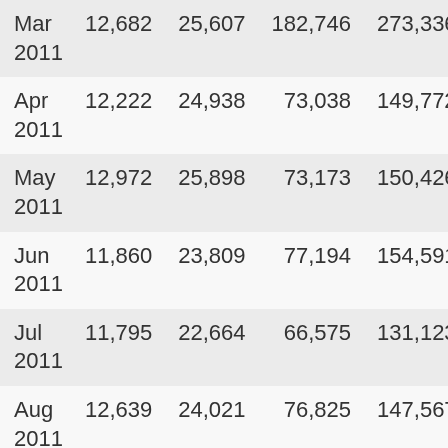| Date | Col1 | Col2 | Col3 | Col4 | Col5 |
| --- | --- | --- | --- | --- | --- |
| Mar 2011 | 12,682 | 25,607 | 182,746 | 273,336 | 8.3 |
| Apr 2011 | 12,222 | 24,938 | 73,038 | 149,772 | 5.0 |
| May 2011 | 12,972 | 25,898 | 73,173 | 150,426 | 4.8 |
| Jun 2011 | 11,860 | 23,809 | 77,194 | 154,591 | 4.6 |
| Jul 2011 | 11,795 | 22,664 | 66,575 | 131,123 | 3.9 |
| Aug 2011 | 12,639 | 24,021 | 76,825 | 147,567 | 4.5 |
| Sep 2011 | 12,848 | 24,458 | 69,757 | 137,053 | 4.0 |
| Oct 2011 | 12,880 | 25,041 | 76,503 | 152,194 | 4.2 |